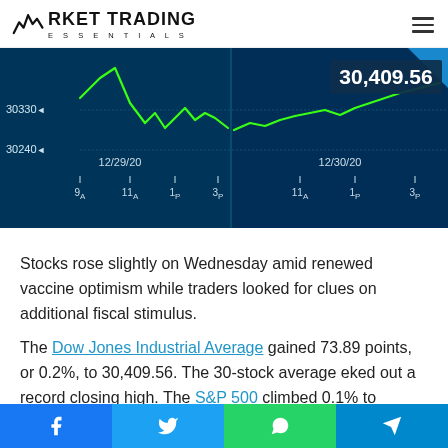MARKET TRADING ESSENTIALS
[Figure (continuous-plot): Stock market line chart showing Dow Jones intraday data for 12/29/20 and 12/30/20. Y-axis shows values 30240 and 30330. X-axis shows time markers 9A, 11A, 1P, 3P for each day. Green line chart on dark blue background. Value badge showing 30,409.56 in top right corner.]
Stocks rose slightly on Wednesday amid renewed vaccine optimism while traders looked for clues on additional fiscal stimulus.
The Dow Jones Industrial Average gained 73.89 points, or 0.2%, to 30,409.56. The 30-stock average eked out a record closing high. The S&P 500 climbed 0.1% to 3,732.04, and the